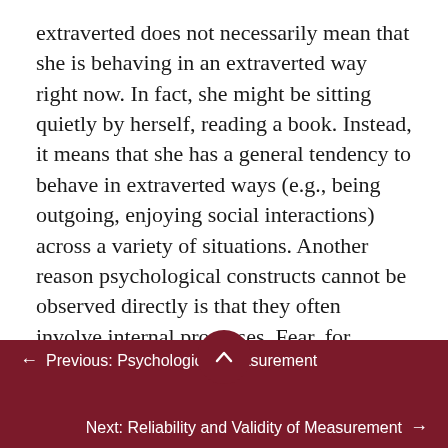extraverted does not necessarily mean that she is behaving in an extraverted way right now. In fact, she might be sitting quietly by herself, reading a book. Instead, it means that she has a general tendency to behave in extraverted ways (e.g., being outgoing, enjoying social interactions) across a variety of situations. Another reason psychological constructs cannot be observed directly is that they often involve internal processes. Fear, for example, involves the activation of certain central and peripheral nervous system structures, along with certain kinds of thoughts, feelings, and behaviors—none of which is necessarily
← Previous: Psychological Measurement    Next: Reliability and Validity of Measurement →